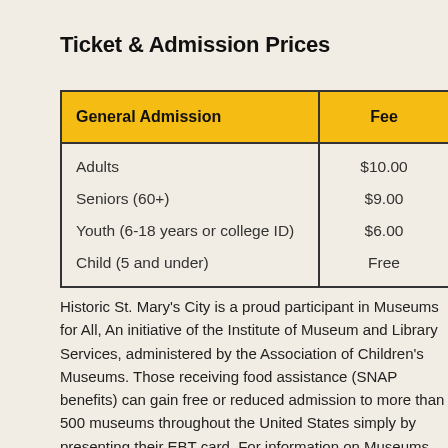Ticket & Admission Prices
| General Admission | Fee |
| --- | --- |
| Adults | $10.00 |
| Seniors (60+) | $9.00 |
| Youth (6-18 years or college ID) | $6.00 |
| Child (5 and under) | Free |
Historic St. Mary's City is a proud participant in Museums for All, An initiative of the Institute of Museum and Library Services, administered by the Association of Children's Museums. Those receiving food assistance (SNAP benefits) can gain free or reduced admission to more than 500 museums throughout the United States simply by presenting their EBT card. For information on Museums for